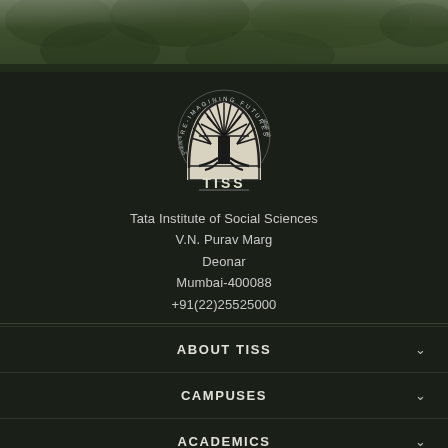[Figure (photo): Dark green foliage/tree background banner at top of page]
[Figure (logo): TISS logo - circular emblem with tree silhouette, arch shape, text RE-IMAGINING FUTURES around the arc, and TISS text below with a horizontal line]
Tata Institute of Social Sciences
V.N. Purav Marg
Deonar
Mumbai-400088
+91(22)25525000
ABOUT TISS
CAMPUSES
ACADEMICS
ACTIVITIES